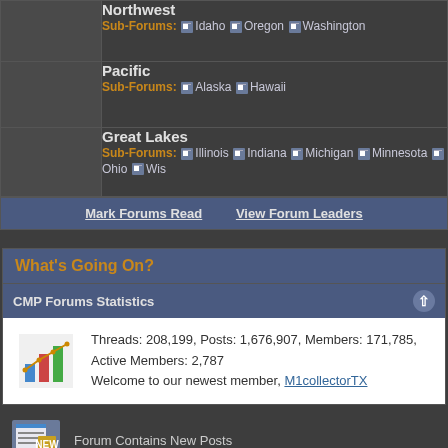|  | Forum |
| --- | --- |
|  | Northwest
Sub-Forums: Idaho, Oregon, Washington |
|  | Pacific
Sub-Forums: Alaska, Hawaii |
|  | Great Lakes
Sub-Forums: Illinois, Indiana, Michigan, Minnesota, Ohio, Wis... |
Mark Forums Read   View Forum Leaders
What's Going On?
CMP Forums Statistics
Threads: 208,199, Posts: 1,676,907, Members: 171,785, Active Members: 2,787
Welcome to our newest member, M1collectorTX
Forum Contains New Posts
Forum Contains No New Posts
All times are GMT -5. The time now is 02:38 PM.
The Civilian Marksmanship Program - Archive - Top